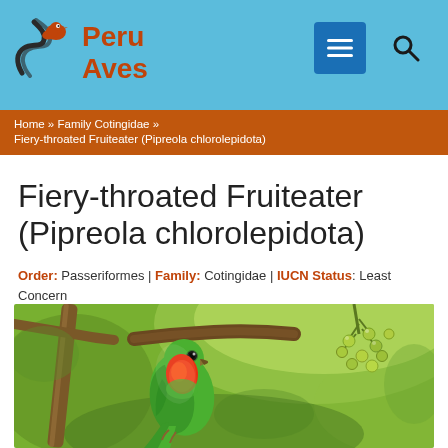Peru Aves
Home » Family Cotingidae » Fiery-throated Fruiteater (Pipreola chlorolepidota)
Fiery-throated Fruiteater (Pipreola chlorolepidota)
Order: Passeriformes | Family: Cotingidae | IUCN Status: Least Concern
[Figure (photo): Photograph of a Fiery-throated Fruiteater (Pipreola chlorolepidota), a small green bird with a vivid red/orange throat, perched on a branch with green berries in the background]